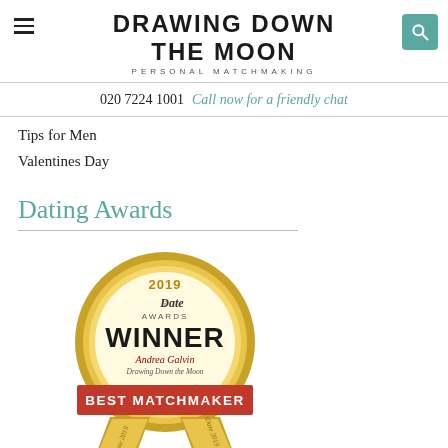DRAWING DOWN THE MOON — PERSONAL MATCHMAKING
020 7224 1001   Call now for a friendly chat
Tips for Men
Valentines Day
Dating Awards
[Figure (illustration): iDate Awards 2019 Winner badge — Andrea Galvin, Drawing Down the Moon — Best Matchmaker. Gold circular medal with red ribbon banner showing 'BEST MATCHMAKER'. Two ribbon tails below with iDate 2019 logos.]